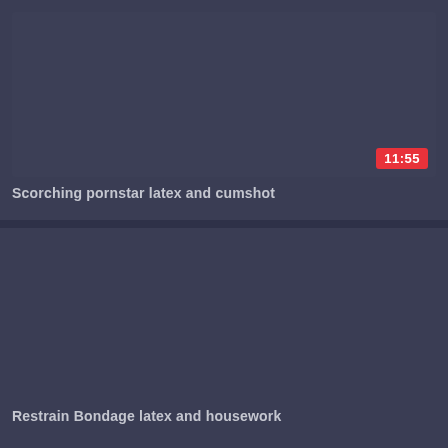[Figure (screenshot): Video thumbnail placeholder - dark blue-gray rectangle for first video]
11:55
Scorching pornstar latex and cumshot
[Figure (screenshot): Video thumbnail placeholder - dark blue-gray rectangle for second video]
20:31
Restrain Bondage latex and housework